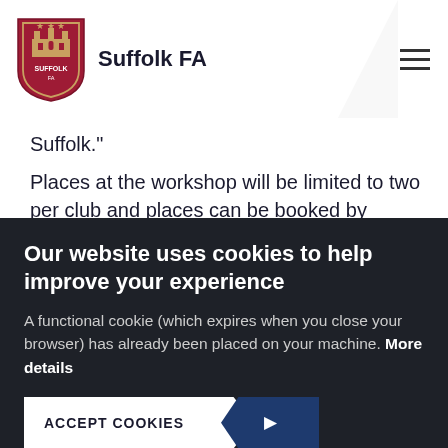Suffolk FA
Suffolk."
Places at the workshop will be limited to two per club and places can be booked by clicking here
The closing date for bookings is on Monday, January 27th 2020.
If you require any further information please contact
Our website uses cookies to help improve your experience
A functional cookie (which expires when you close your browser) has already been placed on your machine. More details
ACCEPT COOKIES